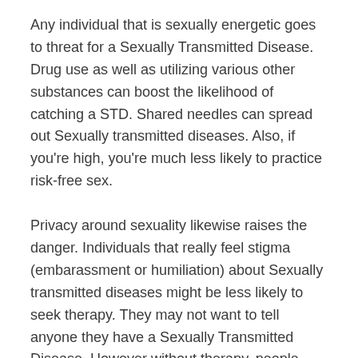Any individual that is sexually energetic goes to threat for a Sexually Transmitted Disease. Drug use as well as utilizing various other substances can boost the likelihood of catching a STD. Shared needles can spread out Sexually transmitted diseases. Also, if you're high, you're much less likely to practice risk-free sex.
Privacy around sexuality likewise raises the danger. Individuals that really feel stigma (embarassment or humiliation) about Sexually transmitted diseases might be less likely to seek therapy. They may not want to tell anyone they have a Sexually Transmitted Disease. However without therapy, people keeping spreading the Sexually Transmitted Disease to others. Being open regarding your symptoms and also sexual background is essential for the health and